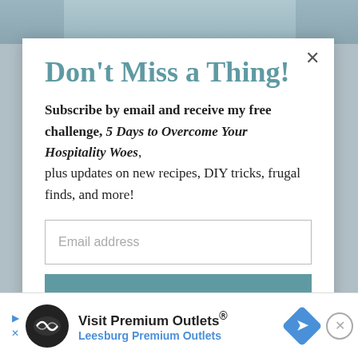[Figure (photo): Background photo partially visible behind modal popup, showing a person in denim clothing]
Don't Miss a Thing!
Subscribe by email and receive my free challenge, 5 Days to Overcome Your Hospitality Woes, plus updates on new recipes, DIY tricks, frugal finds, and more!
Email address
SUBSCRIBE
[Figure (infographic): Advertisement banner for Visit Premium Outlets® - Leesburg Premium Outlets, with logo, directional sign icon, and navigation arrows]